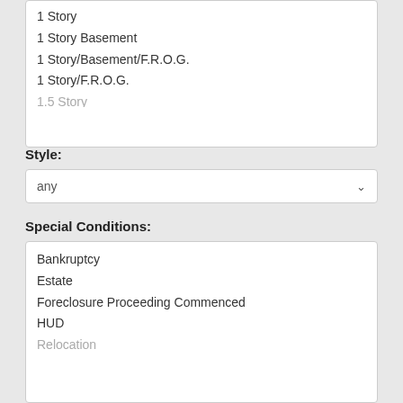1 Story
1 Story Basement
1 Story/Basement/F.R.O.G.
1 Story/F.R.O.G.
1.5 Story (partial, faded)
Style:
any
Special Conditions:
Bankruptcy
Estate
Foreclosure Proceeding Commenced
HUD
Relocation (partial, faded)
Green Features:
EarthCraft House
Energy Star Qualified
Environments for Living
LEED Home
NAHB National Green Building Standard (partial, faded)
Features